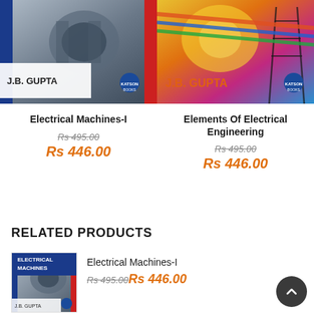[Figure (photo): Book cover of Electrical Machines-I by J.B. Gupta, showing industrial machinery photograph]
[Figure (photo): Book cover of Elements Of Electrical Engineering by J.B. Gupta, showing electrical transmission tower with colorful abstract background]
Electrical Machines-I
Rs 495.00
Rs 446.00
Elements Of Electrical Engineering
Rs 495.00
Rs 446.00
RELATED PRODUCTS
[Figure (photo): Thumbnail of Electrical Machines-I book cover]
Electrical Machines-I
Rs 495.00Rs 446.00